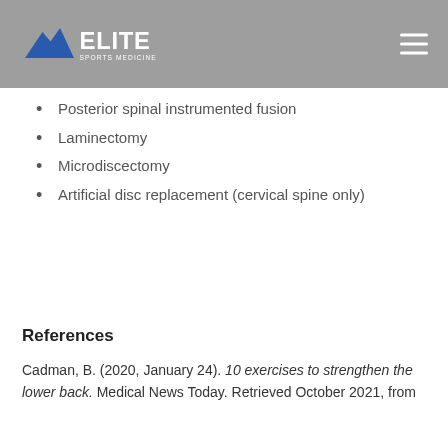Elite Sports Medicine + Orthopedics
Posterior spinal instrumented fusion
Laminectomy
Microdiscectomy
Artificial disc replacement (cervical spine only)
References
Cadman, B. (2020, January 24). 10 exercises to strengthen the lower back. Medical News Today. Retrieved October 2021, from